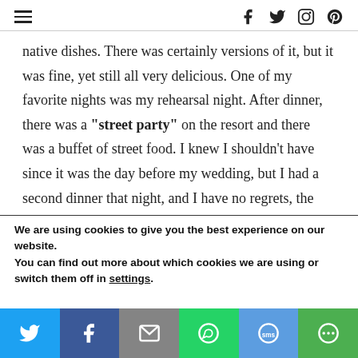navigation and social icons header
native dishes. There was certainly versions of it, but it was fine, yet still all very delicious. One of my favorite nights was my rehearsal night. After dinner, there was a "street party" on the resort and there was a buffet of street food. I knew I shouldn't have since it was the day before my wedding, but I had a second dinner that night, and I have no regrets, the
We are using cookies to give you the best experience on our website.
You can find out more about which cookies we are using or switch them off in settings.
[Figure (infographic): Share bar with Twitter, Facebook, Email, WhatsApp, SMS, and More buttons]